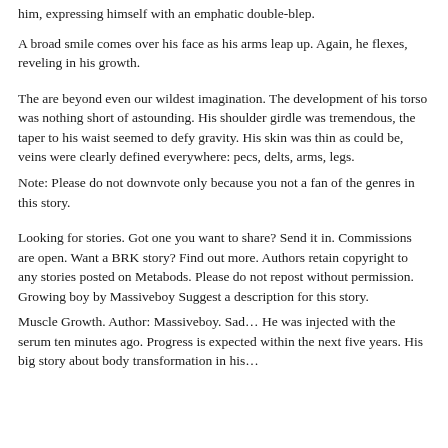him, expressing himself with an emphatic double-blep.
A broad smile comes over his face as his arms leap up. Again, he flexes, reveling in his growth.
The are beyond even our wildest imagination. The development of his torso was nothing short of astounding. His shoulder girdle was tremendous, the taper to his waist seemed to defy gravity. His skin was thin as could be, veins were clearly defined everywhere: pecs, delts, arms, legs.
Note: Please do not downvote only because you not a fan of the genres in this story.
Looking for stories. Got one you want to share? Send it in. Commissions are open. Want a BRK story? Find out more. Authors retain copyright to any stories posted on Metabods. Please do not repost without permission. Growing boy by Massiveboy Suggest a description for this story.
Muscle Growth. Author: Massiveboy. Sad… He was injected with the serum ten minutes ago. Progress is expected within the next five years. His big story about body transformation in his…